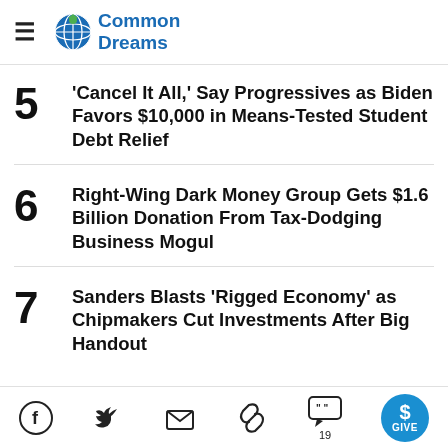Common Dreams
5 'Cancel It All,' Say Progressives as Biden Favors $10,000 in Means-Tested Student Debt Relief
6 Right-Wing Dark Money Group Gets $1.6 Billion Donation From Tax-Dodging Business Mogul
7 Sanders Blasts 'Rigged Economy' as Chipmakers Cut Investments After Big Handout
Facebook Twitter Email Link Comments 19 GIVE